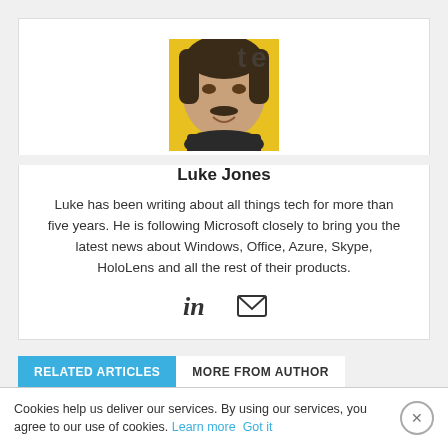[Figure (photo): Headshot photo of Luke Jones, a man with short dark hair and a mustache, smiling, against a yellow background.]
Luke Jones
Luke has been writing about all things tech for more than five years. He is following Microsoft closely to bring you the latest news about Windows, Office, Azure, Skype, HoloLens and all the rest of their products.
[Figure (infographic): LinkedIn icon and email/envelope icon for author contact links.]
RELATED ARTICLES	MORE FROM AUTHOR
Windows 11 2022 Update Name Fo... About 6...
Cookies help us deliver our services. By using our services, you agree to our use of cookies. Learn more  Got it